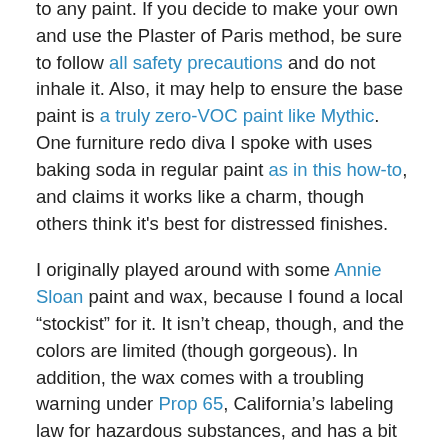to any paint. If you decide to make your own and use the Plaster of Paris method, be sure to follow all safety precautions and do not inhale it. Also, it may help to ensure the base paint is a truly zero-VOC paint like Mythic. One furniture redo diva I spoke with uses baking soda in regular paint as in this how-to, and claims it works like a charm, though others think it's best for distressed finishes.
I originally played around with some Annie Sloan paint and wax, because I found a local “stockist” for it. It isn’t cheap, though, and the colors are limited (though gorgeous). In addition, the wax comes with a troubling warning under Prop 65, California’s labeling law for hazardous substances, and has a bit of an odor at first. I turned on a fan, opened the window, and wouldn’t let the two-year-old near the final project until the wax was cured.